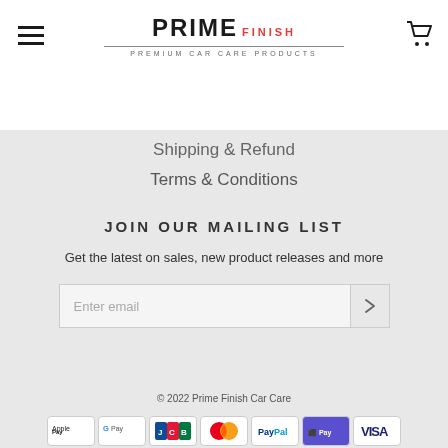PRIME FINISH — PREMIUM CAR CARE PRODUCTS
Shipping & Refund
Terms & Conditions
JOIN OUR MAILING LIST
Get the latest on sales, new product releases and more
Enter email
© 2022 Prime Finish Car Care
[Figure (other): Payment method icons: Apple Pay, Google Pay, JCB, Mastercard, PayPal, Shopify Pay, Visa]